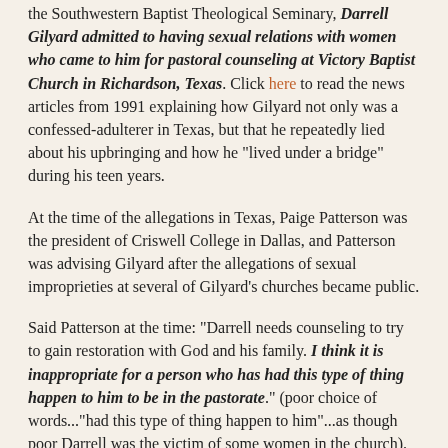the Southwestern Baptist Theological Seminary, Darrell Gilyard admitted to having sexual relations with women who came to him for pastoral counseling at Victory Baptist Church in Richardson, Texas. Click here to read the news articles from 1991 explaining how Gilyard not only was a confessed-adulterer in Texas, but that he repeatedly lied about his upbringing and how he "lived under a bridge" during his teen years.
At the time of the allegations in Texas, Paige Patterson was the president of Criswell College in Dallas, and Patterson was advising Gilyard after the allegations of sexual improprieties at several of Gilyard's churches became public.
Said Patterson at the time: "Darrell needs counseling to try to gain restoration with God and his family. I think it is inappropriate for a person who has had this type of thing happen to him to be in the pastorate." (poor choice of words..."had this type of thing happen to him"...as though poor Darrell was the victim of some women in the church).
The question has to be asked: How in the world did Darrell Gilyard gain a position as pastor at Shiloh Baptist Church after these